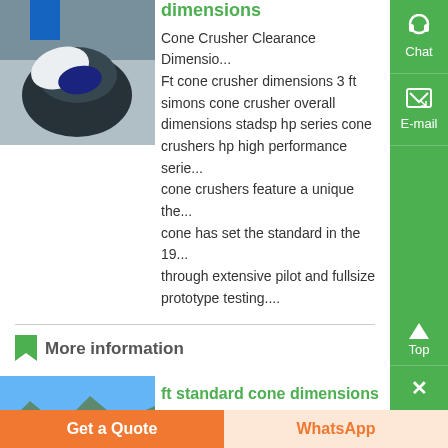[Figure (photo): Industrial cone crusher machinery, dark colored, photographed from above at an angle]
dimensions
Cone Crusher Clearance Dimensions Ft cone crusher dimensions 3 ft simons cone crusher overall dimensions stadsp hp series cone crushers hp high performance series cone crushers feature a unique the cone has set the standard in the 19 through extensive pilot and fullsize prototype testing....
More information
[Figure (photo): Aerial landscape photo showing mountains or hills in the background with a city in the foreground]
ft standard cone dimensions - rachunkowosc-slaskpl